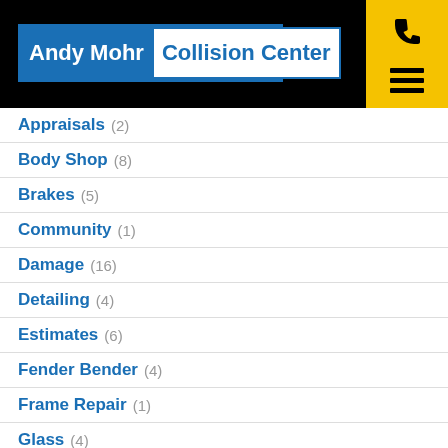[Figure (logo): Andy Mohr Collision Center logo on black header with yellow icon column containing phone and hamburger menu icons]
Appraisals (2)
Body Shop (8)
Brakes (5)
Community (1)
Damage (16)
Detailing (4)
Estimates (6)
Fender Bender (4)
Frame Repair (1)
Glass (4)
Hail (1)